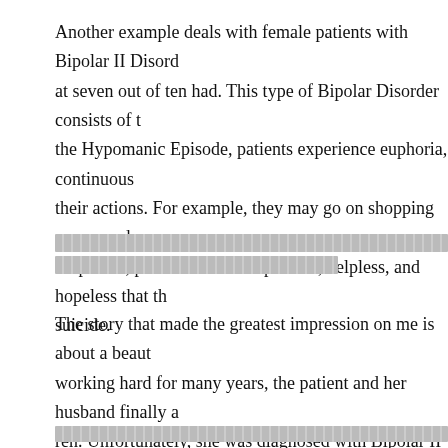Another example deals with female patients with Bipolar II Disorder at seven out of ten had. This type of Bipolar Disorder consists of two episodes: the Hypomanic Episode, patients experience euphoria, continuous energy, and recklessness in their actions. For example, they may go on shopping sprees and engage in risky behavior. In the Depressive Episode, patients feel so depressed, helpless, and hopeless that they may contemplate suicide.
[redacted lines]
The story that made the greatest impression on me is about a beautiful woman. After working hard for many years, the patient and her husband finally achieved their dream of having children. Unfortunately, she was diagnosed with Bipolar II Disorder. She told me that although she knows how to live a normal life, she could not do so because of the condition. In addition, she told me that before she married her husband, she was pregnant. She worried about the negative effect of the premarital pregnancy on their parents' reputation.
[redacted lines at bottom]